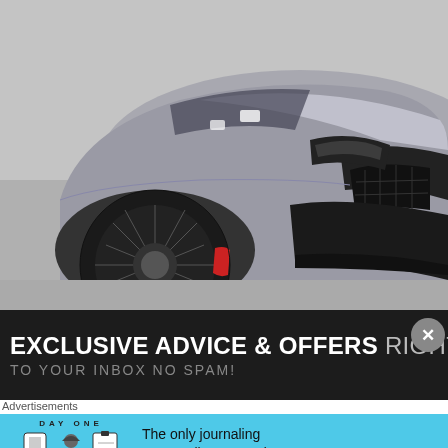[Figure (photo): Silver/grey modified Audi sports car with wide-body kit, low profile, large black alloy wheels with red brake calipers, black front grille and bumper with carbon fiber splitter, viewed from front-left angle in a garage setting]
EXCLUSIVE ADVICE & OFFERS RIGHT
TO YOUR INBOX NO SPAM!
Advertisements
[Figure (infographic): Day One journaling app advertisement banner. Blue background with 'DAY ONE' logo, icons of a phone, person, and notepad, and text 'The only journaling app you'll ever need.']